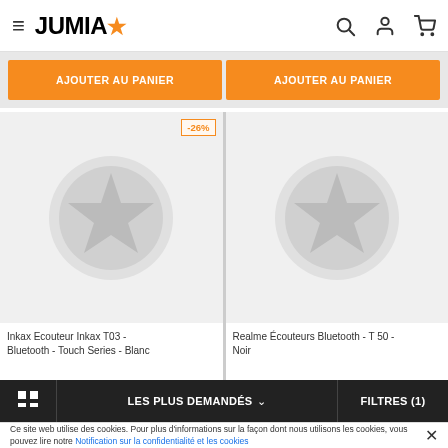JUMIA
[Figure (screenshot): Orange 'AJOUTER AU PANIER' (Add to Cart) button - left product]
[Figure (screenshot): Orange 'AJOUTER AU PANIER' (Add to Cart) button - right product]
[Figure (screenshot): Product card: Inkax Ecouteur Inkax T03 - Bluetooth - Touch Series - Blanc, with -26% discount badge and Jumia placeholder image]
[Figure (screenshot): Product card: Realme Écouteurs Bluetooth - T 50 - Noir, with Jumia placeholder image]
Inkax Ecouteur Inkax T03 - Bluetooth - Touch Series - Blanc
Realme Écouteurs Bluetooth - T 50 - Noir
LES PLUS DEMANDÉS  FILTRES (1)
Ce site web utilise des cookies. Pour plus d'informations sur la façon dont nous utilisons les cookies, vous pouvez lire notre Notification sur la confidentialité et les cookies